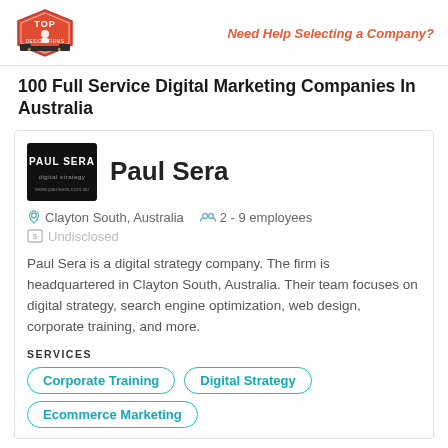Top Design Firms | Need Help Selecting a Company?
100 Full Service Digital Marketing Companies In Australia
[Figure (logo): Paul Sera company logo — white text on black background]
Paul Sera
Clayton South, Australia   2 - 9 employees
Undisclosed
Paul Sera is a digital strategy company. The firm is headquartered in Clayton South, Australia. Their team focuses on digital strategy, search engine optimization, web design, corporate training, and more.
SERVICES
Corporate Training
Digital Strategy
Ecommerce Marketing